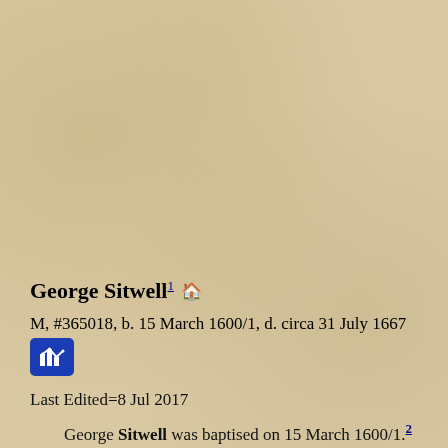George Sitwell¹ 🏠
M, #365018, b. 15 March 1600/1, d. circa 31 July 1667
Last Edited=8 Jul 2017
George Sitwell was baptised on 15 March 1600/1.² He was the son of George Sitwell and Mary Walker.³ He married Margaret Childers, daughter of Hugh Childers and Margaret